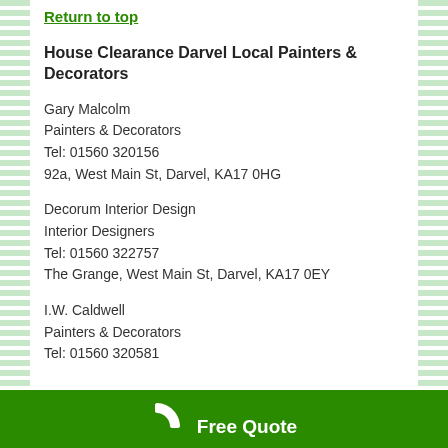Return to top
House Clearance Darvel Local Painters & Decorators
Gary Malcolm
Painters & Decorators
Tel: 01560 320156
92a, West Main St, Darvel, KA17 0HG
Decorum Interior Design
Interior Designers
Tel: 01560 322757
The Grange, West Main St, Darvel, KA17 0EY
I.W. Caldwell
Painters & Decorators
Tel: 01560 320581
Free Quote